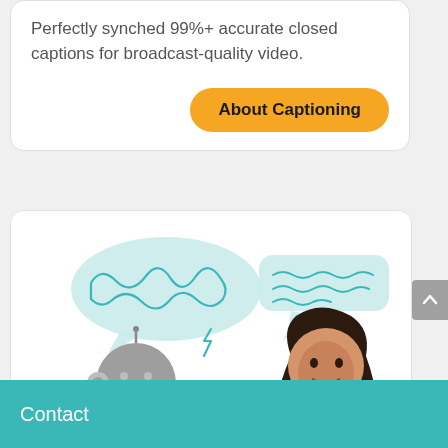Perfectly synched 99%+ accurate closed captions for broadcast-quality video.
[Figure (other): Orange rounded button labeled 'About Captioning' in bold black text]
[Figure (illustration): Illustration of a robot with a tangled speech bubble and a woman with a smooth speech bubble, suggesting AI-to-human communication]
Contact